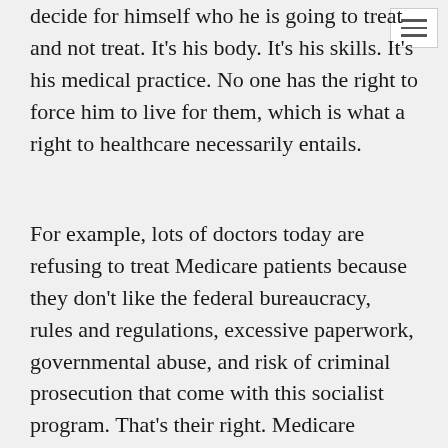decide for himself who he is going to treat and not treat. It's his body. It's his skills. It's his medical practice. No one has the right to force him to live for them, which is what a right to healthcare necessarily entails.
For example, lots of doctors today are refusing to treat Medicare patients because they don't like the federal bureaucracy, rules and regulations, excessive paperwork, governmental abuse, and risk of criminal prosecution that come with this socialist program. That's their right. Medicare patients have no right to healthcare. They cannot legally force the doctor to treat them.
So, people have the right to seek healthcare, just as